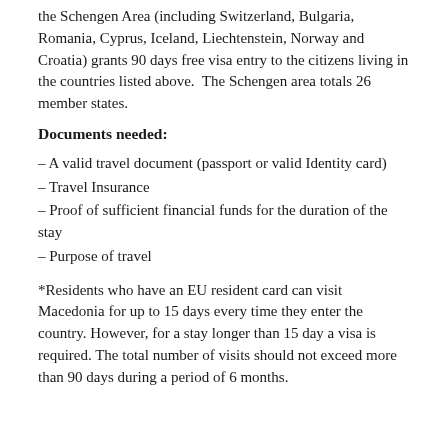the Schengen Area (including Switzerland, Bulgaria, Romania, Cyprus, Iceland, Liechtenstein, Norway and Croatia) grants 90 days free visa entry to the citizens living in the countries listed above.  The Schengen area totals 26 member states.
Documents needed:
– A valid travel document (passport or valid Identity card)
– Travel Insurance
– Proof of sufficient financial funds for the duration of the stay
– Purpose of travel
*Residents who have an EU resident card can visit Macedonia for up to 15 days every time they enter the country. However, for a stay longer than 15 day a visa is required. The total number of visits should not exceed more than 90 days during a period of 6 months.